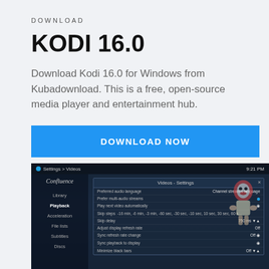DOWNLOAD
KODI 16.0
Download Kodi 16.0 for Windows from Kubadownload. This is a free, open-source media player and entertainment hub.
DOWNLOAD NOW
[Figure (screenshot): Screenshot of Kodi 16.0 application showing the Videos - Settings dialog with Playback menu selected in the sidebar. Settings include preferred audio language, play next video automatically, skip steps, skip delay, adjust display refresh rate, sync playback to display, minimize black bars.]